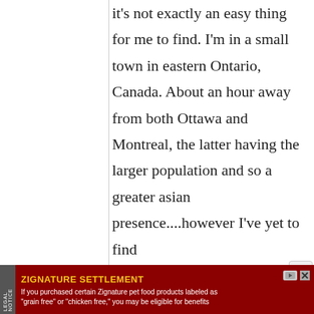it's not exactly an easy thing for me to find. I'm in a small town in eastern Ontario, Canada. About an hour away from both Ottawa and Montreal, the latter having the larger population and so a greater asian presence....however I've yet to find
[Figure (other): Advertisement banner for Zignature Settlement legal notice at the bottom of the page. Dark red background with yellow title text 'ZIGNATURE SETTLEMENT' and white body text about purchasing pet food products.]